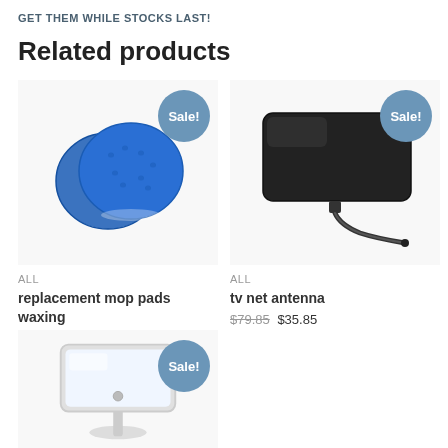GET THEM WHILE STOCKS LAST!
Related products
[Figure (photo): Two blue circular foam mop pads with a Sale! badge]
All
replacement mop pads waxing
$29.85 $14.85
[Figure (photo): Black flat TV net antenna with cable, with a Sale! badge]
All
tv net antenna
$79.85 $35.85
[Figure (photo): White framed magnifying mirror on stand, partial view, with a Sale! badge]